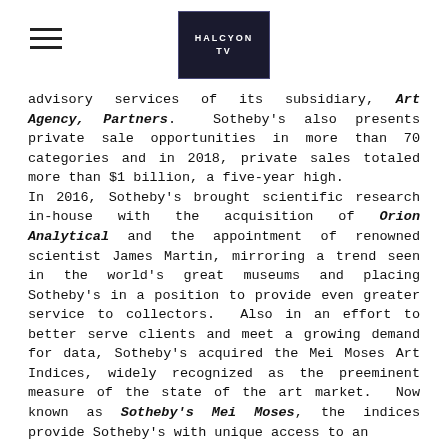HALCYON TV logo with hamburger menu
advisory services of its subsidiary, Art Agency, Partners. Sotheby's also presents private sale opportunities in more than 70 categories and in 2018, private sales totaled more than $1 billion, a five-year high.
In 2016, Sotheby's brought scientific research in-house with the acquisition of Orion Analytical and the appointment of renowned scientist James Martin, mirroring a trend seen in the world's great museums and placing Sotheby's in a position to provide even greater service to collectors. Also in an effort to better serve clients and meet a growing demand for data, Sotheby's acquired the Mei Moses Art Indices, widely recognized as the preeminent measure of the state of the art market. Now known as Sotheby's Mei Moses, the indices provide Sotheby's with unique access to an